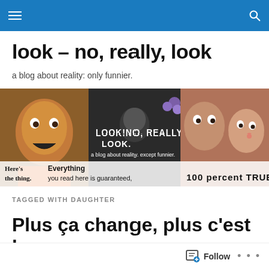Navigation bar with hamburger menu and search icon
look – no, really, look
a blog about reality: only funnier.
[Figure (photo): Blog banner collage showing children's faces and text overlays: 'LOOK! NO, REALLY?! LOOK. a blog about reality. except funnier.' and 'Here's the thing. Everything you read here is guaranteed, 100 percent TRUE.']
TAGGED WITH DAUGHTER
Plus ça change, plus c'est la même chose. Oui.
Follow